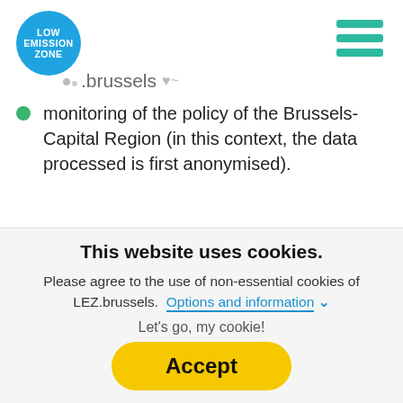[Figure (logo): Low Emission Zone circular blue logo with white text reading LOW EMISSION ZONE, with grey dot bullets and .brussels text with heart/cloud icon]
monitoring of the policy of the Brussels-Capital Region (in this context, the data processed is first anonymised).
Retention of your personal data
Brussels Taxation only keeps your personal data for
This website uses cookies.
Please agree to the use of non-essential cookies of LEZ.brussels.  Options and information ∨
Let's go, my cookie!
Accept